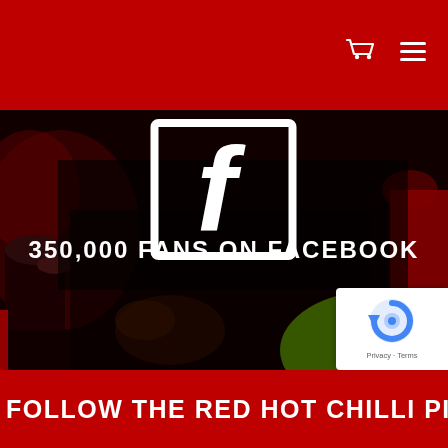[Figure (screenshot): Facebook logo icon (white 'f' in square bracket frame) on dark concert background]
350,000 FANS ON FACEBOOK
[Figure (photo): Concert stage photo with dark background, red lighting, instruments visible. Bottom right shows green spotlight on floor.]
[Figure (logo): Google reCAPTCHA badge with circular arrow logo. Privacy and Terms links below.]
FOLLOW THE RED HOT CHILLI PIPERS